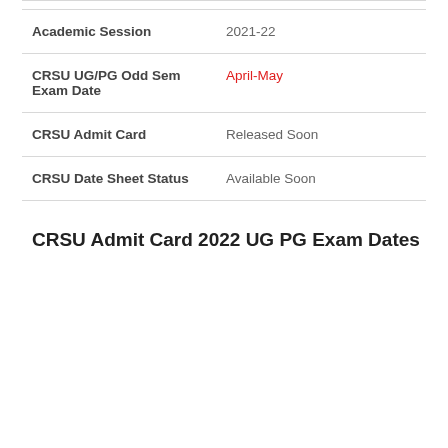| Field | Value |
| --- | --- |
| Academic Session | 2021-22 |
| CRSU UG/PG Odd Sem Exam Date | April-May |
| CRSU Admit Card | Released Soon |
| CRSU Date Sheet Status | Available Soon |
CRSU Admit Card 2022 UG PG Exam Dates